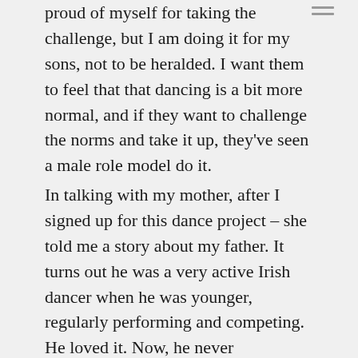proud of myself for taking the challenge, but I am doing it for my sons, not to be heralded. I want them to feel that that dancing is a bit more normal, and if they want to challenge the norms and take it up, they've seen a male role model do it.
In talking with my mother, after I signed up for this dance project – she told me a story about my father. It turns out he was a very active Irish dancer when he was younger, regularly performing and competing. He loved it. Now, he never encouraged me to dance – but never discouraged me either. I always remember him being able to dance at weddings during traditional dances, cutting a rug with my Mum. It explains, perhaps, my electrically fast feet (ha); or perhaps,